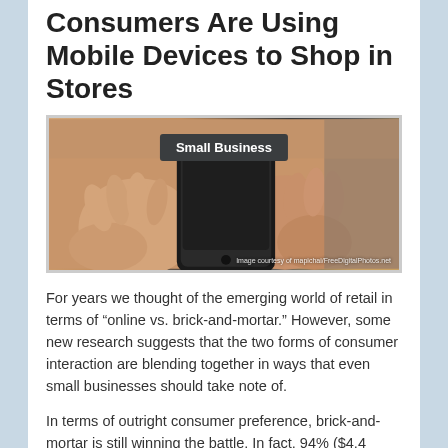Consumers Are Using Mobile Devices to Shop in Stores
[Figure (photo): Person holding a smartphone with both hands, photographed from above. A 'Small Business' badge/label is overlaid at the top center. Image credit text reads 'Image courtesy of mapichai/FreeDigitalPhotos.net'.]
For years we thought of the emerging world of retail in terms of “online vs. brick-and-mortar.” However, some new research suggests that the two forms of consumer interaction are blending together in ways that even small businesses should take note of.
In terms of outright consumer preference, brick-and-mortar is still winning the battle. In fact, 94% ($4.4 trillion) of all retail sales in the U.S.